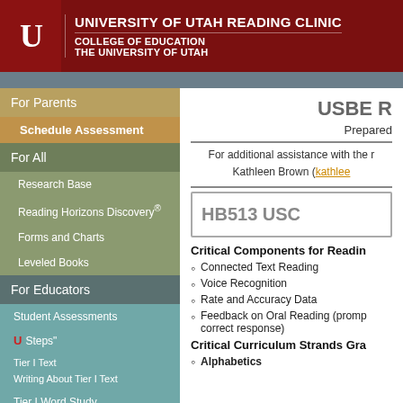UNIVERSITY OF UTAH READING CLINIC | COLLEGE OF EDUCATION | THE UNIVERSITY OF UTAH
For Parents
Schedule Assessment
For All
Research Base
Reading Horizons Discovery®
Forms and Charts
Leveled Books
For Educators
Student Assessments
U Steps"
Tier I Text
Writing About Tier I Text
Tier I Word Study
USBE Reading Software
USBE R
Prepared
For additional assistance with the r Kathleen Brown (kathlee
HB513 USC
Critical Components for Readin
Connected Text Reading
Voice Recognition
Rate and Accuracy Data
Feedback on Oral Reading (promp correct response)
Critical Curriculum Strands Gra
Alphabetics